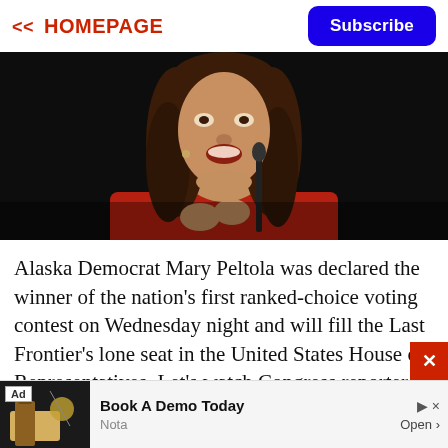<< HOMEPAGE
Subscribe
[Figure (photo): Woman speaking at a podium, wearing a red outfit, with dark background. She has long brown hair and appears to be speaking enthusiastically.]
Alaska Democrat Mary Peltola was declared the winner of the nation's first ranked-choice voting contest on Wednesday night and will fill the Last Frontier's lone seat in the United States House of Representatives. Let's watch Congress reporter Jack Fitzpatrick of Bloomberg News explain how the special election
Ad   Book A Demo Today   Nota   Open >